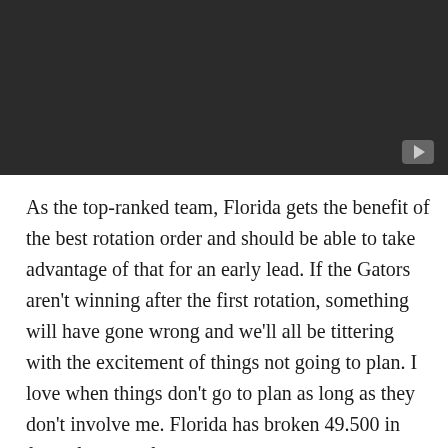[Figure (screenshot): Dark grey/black video player header area with a play button in the bottom-right corner]
As the top-ranked team, Florida gets the benefit of the best rotation order and should be able to take advantage of that for an early lead. If the Gators aren't winning after the first rotation, something will have gone wrong and we'll all be tittering with the excitement of things not going to plan. I love when things don't go to plan as long as they don't involve me. Florida has broken 49.500 in four of the last five meets, and that's the minimum level of scoring I expect in this meet from a lineup that has clearly improved over last year and ends with Baker, Sloan, Hunter, and McMurtry. Hunter and McMurtry have to do poor vaults to go as low as 9.900, and while Florida does occasionally have a case of the bounce-a-thons (though mostly